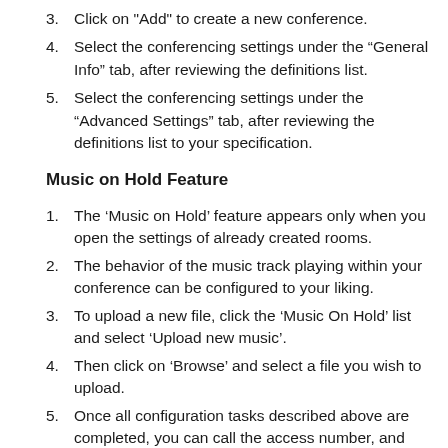3. Click on "Add" to create a new conference.
4. Select the conferencing settings under the “General Info” tab, after reviewing the definitions list.
5. Select the conferencing settings under the “Advanced Settings” tab, after reviewing the definitions list to your specification.
Music on Hold Feature
1. The ‘Music on Hold’ feature appears only when you open the settings of already created rooms.
2. The behavior of the music track playing within your conference can be configured to your liking.
3. To upload a new file, click the ‘Music On Hold’ list and select ‘Upload new music’.
4. Then click on ‘Browse’ and select a file you wish to upload.
5. Once all configuration tasks described above are completed, you can call the access number, and start